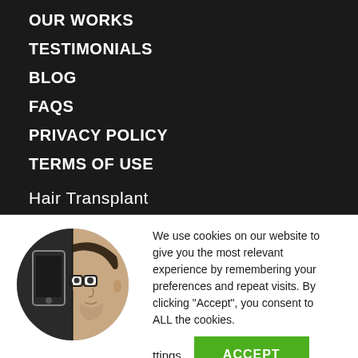OUR WORKS
TESTIMONIALS
BLOG
FAQs
PRIVACY POLICY
TERMS OF USE
Hair Transplant
Non-Surgical Hair Loss Solution
We use cookies on our website to give you the most relevant experience by remembering your preferences and repeat visits. By clicking “Accept”, you consent to ALL the cookies.
[Figure (photo): Circular avatar image of a man with glasses, half shown in dark/phone style and half in normal appearance]
Cookie Settings  ACCEPT